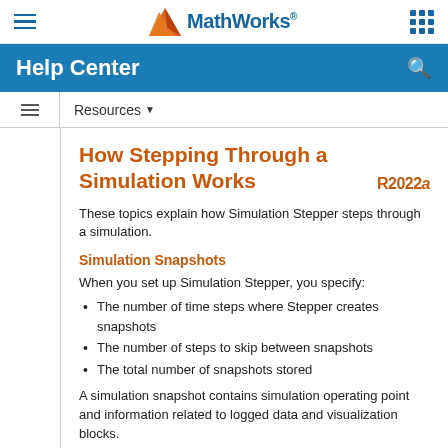MathWorks Help Center
How Stepping Through a Simulation Works
These topics explain how Simulation Stepper steps through a simulation.
Simulation Snapshots
When you set up Simulation Stepper, you specify:
The number of time steps where Stepper creates snapshots
The number of steps to skip between snapshots
The total number of snapshots stored
A simulation snapshot contains simulation operating point and information related to logged data and visualization blocks.